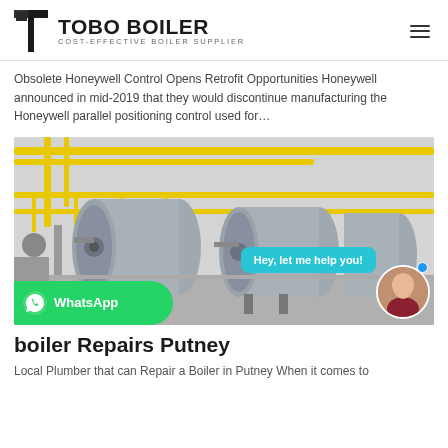TOBO BOILER — COST-EFFECTIVE BOILER SUPPLIER
Obsolete Honeywell Control Opens Retrofit Opportunities Honeywell announced in mid-2019 that they would discontinue manufacturing the Honeywell parallel positioning control used for…
[Figure (photo): Industrial boiler room with large horizontal cylindrical boilers and yellow pipework; chat bubble overlay saying 'Hey, let me help you!' with avatar and WhatsApp bar]
boiler Repairs Putney
Local Plumber that can Repair a Boiler in Putney When it comes to